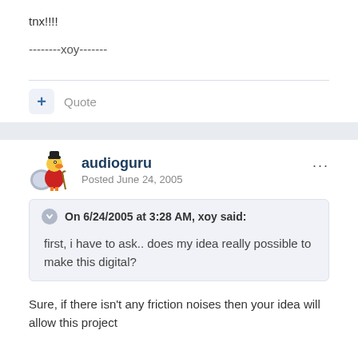tnx!!!!
--------xoy-------
+ Quote
audioguru
Posted June 24, 2005
On 6/24/2005 at 3:28 AM, xoy said:
first, i have to ask.. does my idea really possible to make this digital?
Sure, if there isn't any friction noises then your idea will allow this project